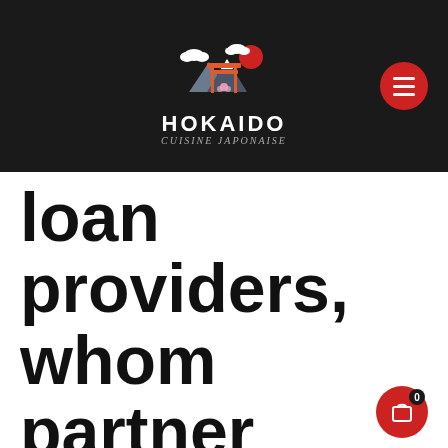[Figure (logo): Hokaido Cuisine Japonaise logo with torii gate, mountain, cloud and red sun illustration on dark background]
loan providers, whom partner utilizing the web web site